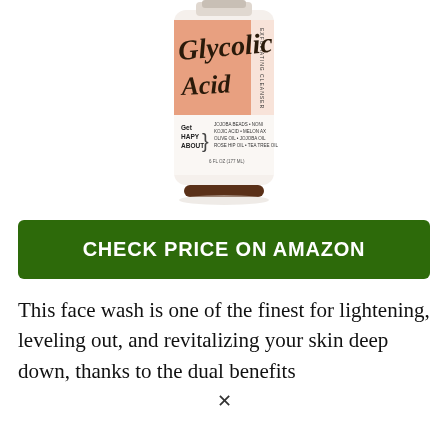[Figure (photo): Product photo of a Glycolic Acid Exfoliating Cleanser bottle with peach/salmon colored label, script lettering, 'Get Happy About' text, and ingredient list. 6 FL OZ (177 ML).]
CHECK PRICE ON AMAZON
This face wash is one of the finest for lightening, leveling out, and revitalizing your skin deep down, thanks to the dual benefits